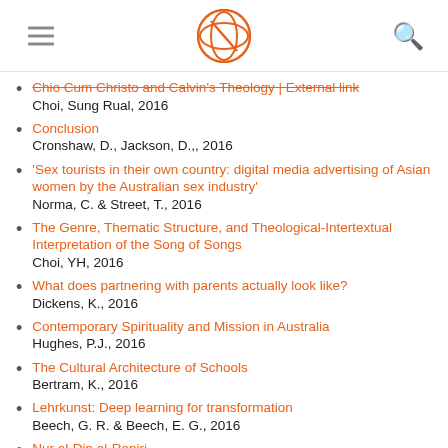[hamburger menu icon] [logo: circular orange globe/cross icon] [search icon]
Chio Cum Christo and Calvin's Theology | External link
Choi, Sung Rual, 2016
Conclusion
Cronshaw, D., Jackson, D.,, 2016
'Sex tourists in their own country: digital media advertising of Asian women by the Australian sex industry'
Norma, C. & Street, T., 2016
The Genre, Thematic Structure, and Theological-Intertextual Interpretation of the Song of Songs
Choi, YH, 2016
What does partnering with parents actually look like?
Dickens, K., 2016
Contemporary Spirituality and Mission in Australia
Hughes, P.J., 2016
The Cultural Architecture of Schools
Bertram, K., 2016
Lehrkunst: Deep learning for transformation
Beech, G. R. & Beech, E. G., 2016
Nur al-Din al-Raniri
Riddell, P.G. & Nurtawab, E., 2016